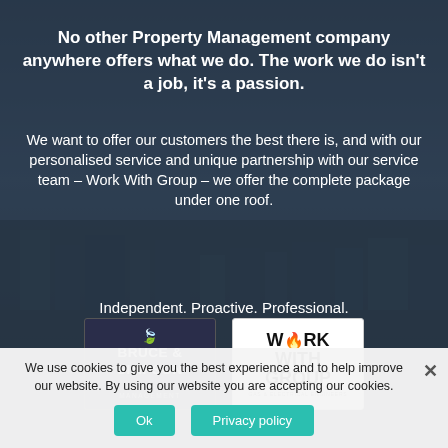No other Property Management company anywhere offers what we do. The work we do isn’t a job, it’s a passion.
We want to offer our customers the best there is, and with our personalised service and unique partnership with our service team – Work With Group – we offer the complete package under one roof.
Independent. Proactive. Professional.
[Figure (logo): Bruce & Simpson Property Management logo - dark blue background with gold leaf icon and white text]
[Figure (logo): Work With Group logo - white background with black bold text and flame/droplet icon]
We use cookies to give you the best experience and to help improve our website. By using our website you are accepting our cookies.